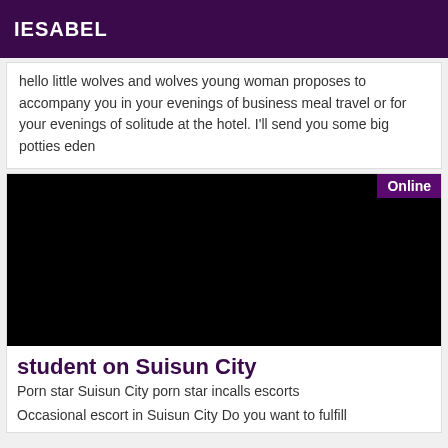IESABEL
hello little wolves and wolves young woman proposes to accompany you in your evenings of business meal travel or for your evenings of solitude at the hotel. I'll send you some big potties eden
[Figure (photo): Black image area with an 'Online' badge in the top-right corner on a purple background]
student on Suisun City
Porn star Suisun City porn star incalls escorts
Occasional escort in Suisun City Do you want to fulfill